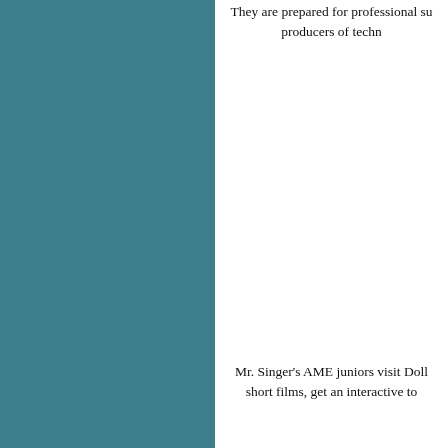[Figure (photo): Teal/dark cyan colored panel on the left side of the page]
They are prepared for professional su producers of techn
Mr. Singer's AME juniors visit Doll short films, get an interactive to